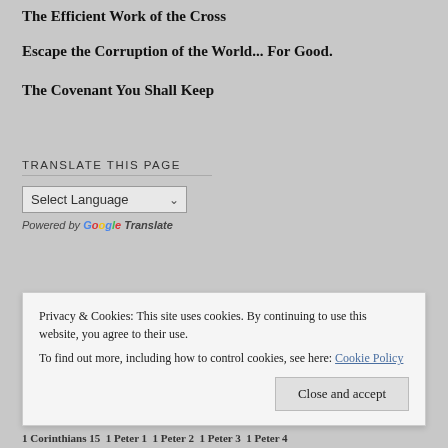The Efficient Work of the Cross
Escape the Corruption of the World... For Good.
The Covenant You Shall Keep
TRANSLATE THIS PAGE
[Figure (screenshot): Select Language dropdown widget]
Privacy & Cookies: This site uses cookies. By continuing to use this website, you agree to their use. To find out more, including how to control cookies, see here: Cookie Policy
Close and accept
1 Corinthians 15  1 Peter 1  1 Peter 2  1 Peter 3  1 Peter 4